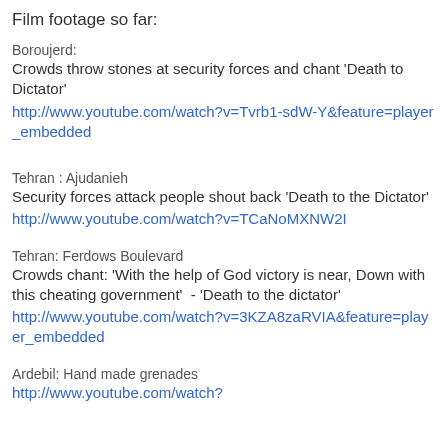Film footage so far:
Boroujerd:
Crowds throw stones at security forces and chant 'Death to Dictator'
http://www.youtube.com/watch?v=Tvrb1-sdW-Y&feature=player_embedded
Tehran : Ajudanieh
Security forces attack people shout back 'Death to the Dictator'
http://www.youtube.com/watch?v=TCaNoMXNW2I
Tehran: Ferdows Boulevard
Crowds chant: 'With the help of God victory is near, Down with this cheating government'  - 'Death to the dictator'
http://www.youtube.com/watch?v=3KZA8zaRVIA&feature=player_embedded
Ardebil: Hand made grenades
http://www.youtube.com/watch?